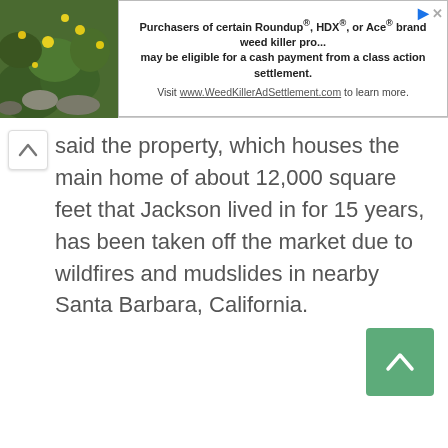[Figure (other): Advertisement banner with a green leafy/rocky plant image on the left and ad text on the right: 'Purchasers of certain Roundup®, HDX®, or Ace® brand weed killer products may be eligible for a cash payment from a class action settlement. Visit www.WeedKillerAdSettlement.com to learn more.']
said the property, which houses the main home of about 12,000 square feet that Jackson lived in for 15 years, has been taken off the market due to wildfires and mudslides in nearby Santa Barbara, California.